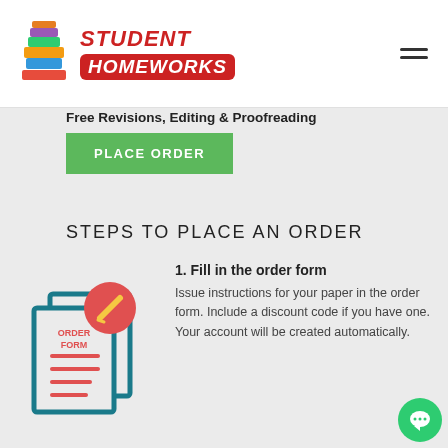[Figure (logo): Student Homeworks logo with stacked colorful books icon and red italic text STUDENT HOMEWORKS]
[Figure (illustration): Hamburger menu icon (three horizontal lines) in top right corner]
Free Revisions, Editing & Proofreading
PLACE ORDER
STEPS TO PLACE AN ORDER
[Figure (illustration): Icon showing two teal document pages with ORDER FORM text and a red circle with pencil]
1. Fill in the order form
Issue instructions for your paper in the order form. Include a discount code if you have one. Your account will be created automatically.
[Figure (illustration): Green circular chat bubble icon in bottom right corner]